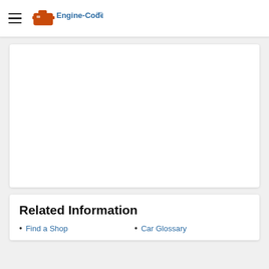Engine-Codes
[Figure (other): White advertisement placeholder box]
Related Information
Find a Shop
Car Glossary